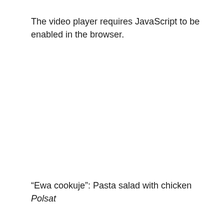The video player requires JavaScript to be enabled in the browser.
“Ewa cookuje”: Pasta salad with chicken
Polsat